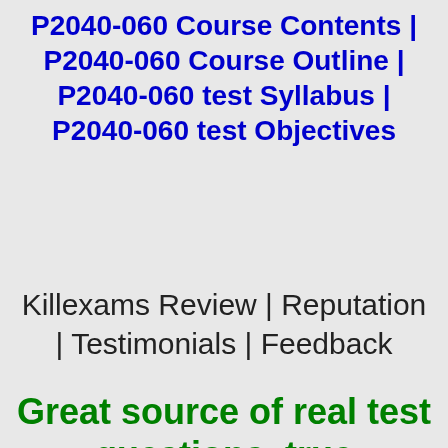P2040-060 Course Contents | P2040-060 Course Outline | P2040-060 test Syllabus | P2040-060 test Objectives
Killexams Review | Reputation | Testimonials | Feedback
Great source of real test questions, true